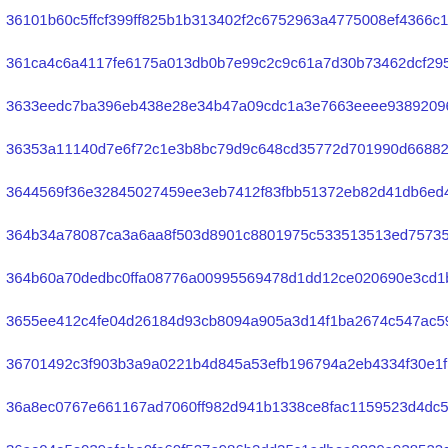36101b60c5ffcf399ff825b1b313402f2c6752963a4775008ef4366c18460
361ca4c6a4117fe6175a013db0b7e99c2c9c61a7d30b73462dcf2958e424c
3633eedc7ba396eb438e28e34b47a09cdc1a3e7663eeee9389209632c85c0
36353a11140d7e6f72c1e3b8bc79d9c648cd35772d701990d668828f23e11
3644569f36e32845027459ee3eb7412f83fbb51372eb82d41db6ed41a0224
364b34a78087ca3a6aa8f503d8901c8801975c533513513ed7573555c2abe
364b60a70dedbc0ffa08776a00995569478d1dd12ce020690e3cd1b9f37554
3655ee412c4fe04d26184d93cb8094a905a3d14f1ba2674c547ac593b88f8
36701492c3f903b3a9a0221b4d845a53efb196794a2eb4334f30e1f5d7635
36a8ec0767e661167ad7060ff982d941b1338ce8fac1159523d4dc5b5143b
36ae04e5e039afebe0fa60f527e986b2dd25c1adbea8829a938522c8b84f8